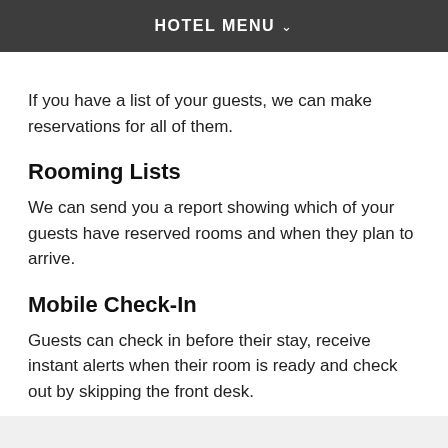HOTEL MENU
If you have a list of your guests, we can make reservations for all of them.
Rooming Lists
We can send you a report showing which of your guests have reserved rooms and when they plan to arrive.
Mobile Check-In
Guests can check in before their stay, receive instant alerts when their room is ready and check out by skipping the front desk.
[Figure (logo): Marriott Bonvoy logo with MARRIOTT text above and BONVOY in bold with an orange underline accent]
Reward Yourself
Earn up to 60,000 plus Elite status, discounts and more.